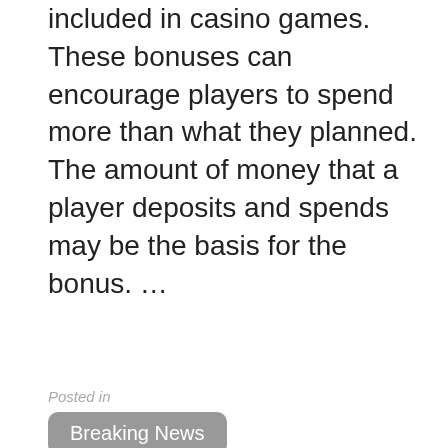included in casino games. These bonuses can encourage players to spend more than what they planned. The amount of money that a player deposits and spends may be the basis for the bonus. …
Posted in
Breaking News
Tagged
Finance
[Figure (photo): Close-up photo of a middle-aged man with short grey-brown hair, looking straight ahead with a neutral expression]